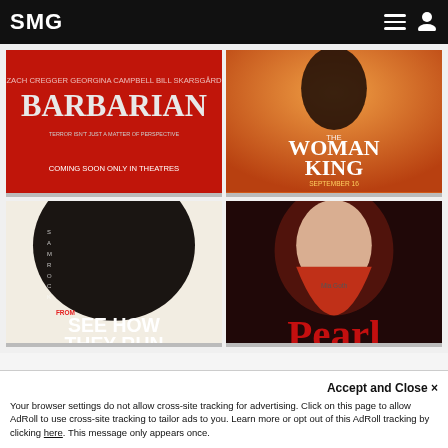SMG
[Figure (photo): Movie poster for Barbarian - red background with title text]
[Figure (photo): Movie poster for The Woman King - orange background with silhouette]
[Figure (photo): Movie poster for See How They Run - noir style with ensemble cast]
[Figure (photo): Movie poster for Pearl - woman with red hair on dark background]
Accept and Close ✕
Your browser settings do not allow cross-site tracking for advertising. Click on this page to allow AdRoll to use cross-site tracking to tailor ads to you. Learn more or opt out of this AdRoll tracking by clicking here. This message only appears once.